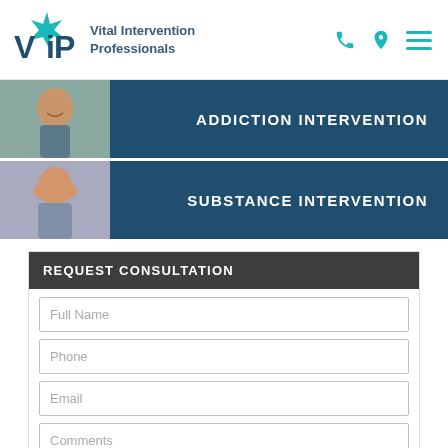[Figure (logo): VIP Vital Intervention Professionals logo with teal star and dark blue VIP letters]
Vital Intervention Professionals
[Figure (illustration): Header icons: phone, location pin, hamburger menu in teal]
[Figure (photo): Thumbnail photo of smiling man next to ADDICTION INTERVENTION menu button]
ADDICTION INTERVENTION
[Figure (photo): Thumbnail photo of woman covering face next to SUBSTANCE INTERVENTION menu button]
SUBSTANCE INTERVENTION
REQUEST CONSULTATION
Full Name
Phone
Email
Comments